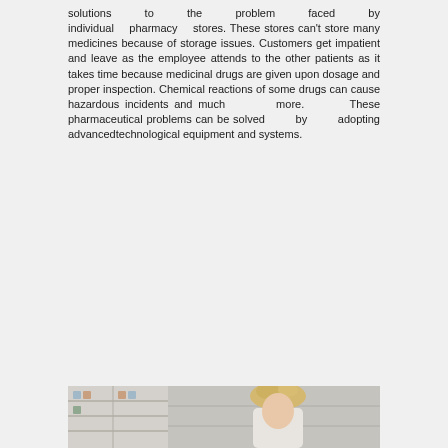solutions to the problem faced by individual pharmacy stores. These stores can't store many medicines because of storage issues. Customers get impatient and leave as the employee attends to the other patients as it takes time because medicinal drugs are given upon dosage and proper inspection. Chemical reactions of some drugs can cause hazardous incidents and much more. These pharmaceutical problems can be solved by adopting advancedtechnological equipment and systems.
[Figure (photo): Partial view of a pharmacy or medical setting with a person (appears to have blonde hair), shelves visible in background]